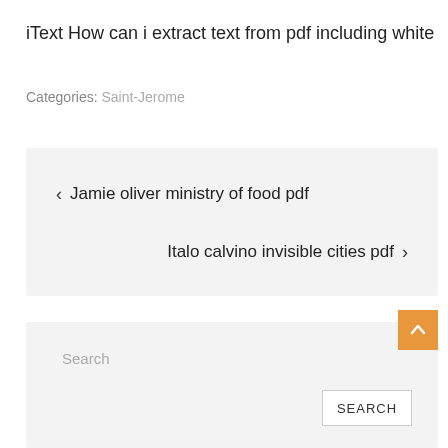iText How can i extract text from pdf including white
Categories: Saint-Jerome
< Jamie oliver ministry of food pdf
Italo calvino invisible cities pdf >
Search
SEARCH